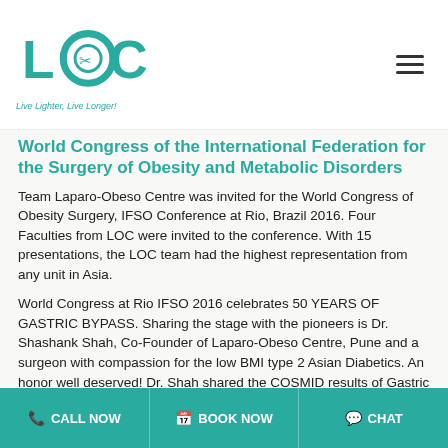LOC — Live Lighter, Live Longer! [logo and navigation]
World Congress of the International Federation for the Surgery of Obesity and Metabolic Disorders
Team Laparo-Obeso Centre was invited for the World Congress of Obesity Surgery, IFSO Conference at Rio, Brazil 2016.  Four Faculties from LOC were invited to the conference.  With 15 presentations, the LOC team had the highest representation from any unit in Asia.
World Congress at Rio IFSO 2016 celebrates 50 YEARS OF GASTRIC BYPASS.  Sharing the stage with the pioneers is Dr. Shashank Shah, Co-Founder of Laparo-Obeso Centre, Pune and a surgeon with compassion for the low BMI type 2 Asian Diabetics.  An honor well deserved!  Dr. Shah shared the COSMID results of Gastric Bypass versus medical management for which he received
CALL NOW | BOOK NOW | CHAT